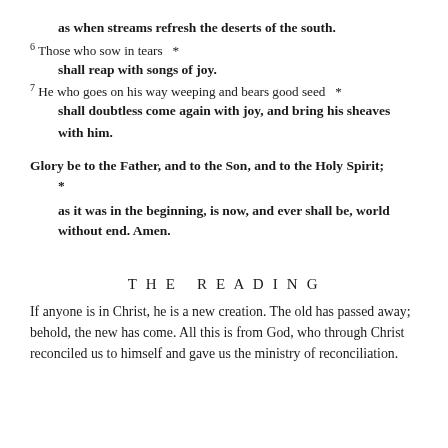as when streams refresh the deserts of the south.
6 Those who sow in tears *
    shall reap with songs of joy.
7 He who goes on his way weeping and bears good seed *
    shall doubtless come again with joy, and bring his sheaves with him.
Glory be to the Father, and to the Son, and to the Holy Spirit; *
    as it was in the beginning, is now, and ever shall be, world without end. Amen.
THE READING
If anyone is in Christ, he is a new creation. The old has passed away; behold, the new has come. All this is from God, who through Christ reconciled us to himself and gave us the ministry of reconciliation.